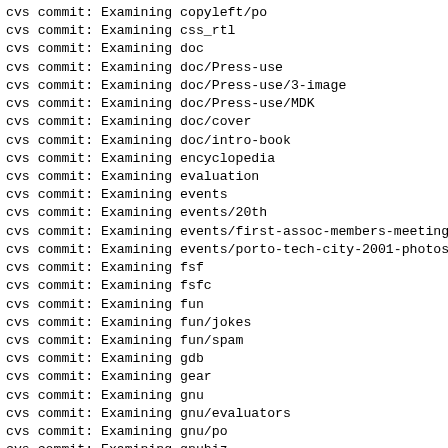cvs commit: Examining copyleft/po
cvs commit: Examining css_rtl
cvs commit: Examining doc
cvs commit: Examining doc/Press-use
cvs commit: Examining doc/Press-use/3-image
cvs commit: Examining doc/Press-use/MDK
cvs commit: Examining doc/cover
cvs commit: Examining doc/intro-book
cvs commit: Examining encyclopedia
cvs commit: Examining evaluation
cvs commit: Examining events
cvs commit: Examining events/20th
cvs commit: Examining events/first-assoc-members-meeting-
cvs commit: Examining events/porto-tech-city-2001-photos
cvs commit: Examining fsf
cvs commit: Examining fsfc
cvs commit: Examining fun
cvs commit: Examining fun/jokes
cvs commit: Examining fun/spam
cvs commit: Examining gdb
cvs commit: Examining gear
cvs commit: Examining gnu
cvs commit: Examining gnu/evaluators
cvs commit: Examining gnu/po
cvs commit: Examining gnubiz
cvs commit: Examining gnues
cvs commit: Examining gnueval
cvs commit: Examining gnunion
cvs commit: Examining gnusearch
cvs commit: Examining gnutls
cvs commit: Examining ...